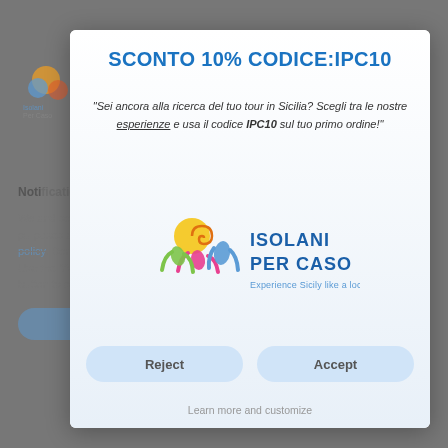[Figure (screenshot): Website background showing cookie consent page with logo, notification text, and blurred body text about cookies and third-party use]
SCONTO 10% CODICE:IPC10
"Sei ancora alla ricerca del tuo tour in Sicilia? Scegli tra le nostre esperienze e usa il codice IPC10 sul tuo primo ordine!"
[Figure (logo): Isolani Per Caso logo with colorful figures and text 'ISOLANI PER CASO' and tagline 'Experience Sicily like a local']
Reject
Accept
Learn more and customize